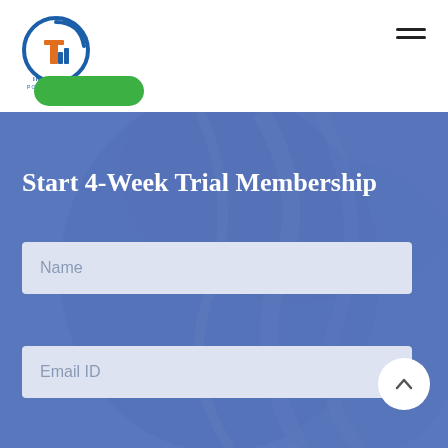[Figure (logo): Inflection Point Ventures logo — circular icon with 'I' and bar chart graphic, with text 'INFLECTION POINT VENTURES' below]
[Figure (other): Hamburger menu icon (three horizontal lines) in top right corner]
[Figure (other): Green rounded button partially visible below logo]
Start 4-Week Trial Membership
Name
Email ID
Mobile